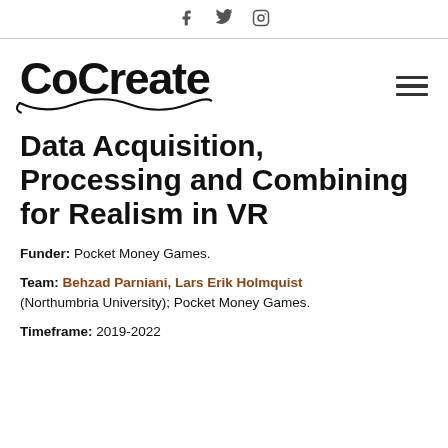f  🐦  IG (social icons)
[Figure (logo): CoCreate logo with stylized text and decorative swirl underline]
Data Acquisition, Processing and Combining for Realism in VR
Funder: Pocket Money Games.
Team: Behzad Parniani, Lars Erik Holmquist (Northumbria University); Pocket Money Games.
Timeframe: 2019-2022